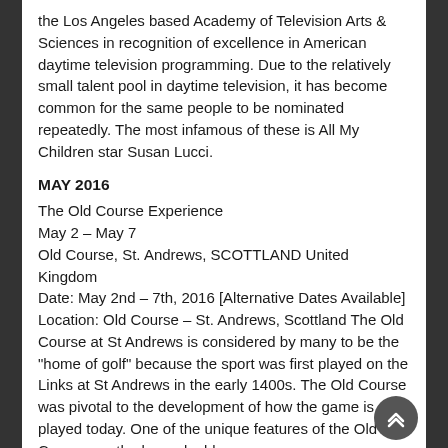the Los Angeles based Academy of Television Arts & Sciences in recognition of excellence in American daytime television programming. Due to the relatively small talent pool in daytime television, it has become common for the same people to be nominated repeatedly. The most infamous of these is All My Children star Susan Lucci.
MAY 2016
The Old Course Experience
May 2 – May 7
Old Course, St. Andrews, SCOTTLAND United Kingdom
Date: May 2nd – 7th, 2016 [Alternative Dates Available]
Location: Old Course – St. Andrews, Scottland The Old Course at St Andrews is considered by many to be the "home of golf" because the sport was first played on the Links at St Andrews in the early 1400s. The Old Course was pivotal to the development of how the game is still played today. One of the unique features of the Old Course are the large double greens.
Kentucky Derby
May 7